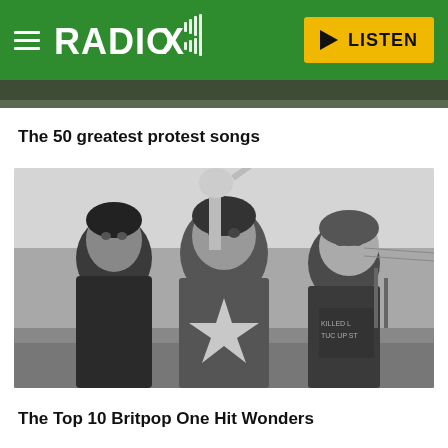RADIO X — LISTEN
The 50 greatest protest songs
[Figure (photo): Black and white photo of three young men (a band) standing together outdoors. The central figure wears a t-shirt with a large star. Behind them is a statue being held aloft.]
The Top 10 Britpop One Hit Wonders